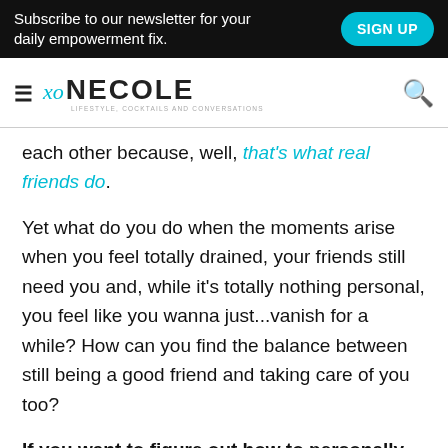Subscribe to our newsletter for your daily empowerment fix. SIGN UP
[Figure (logo): XO Necole logo with hamburger menu icon on left and search icon on right]
each other because, well, that's what real friends do.
Yet what do you do when the moments arise when you feel totally drained, your friends still need you and, while it's totally nothing personal, you feel like you wanna just...vanish for a while? How can you find the balance between still being a good friend and taking care of you too?
If you want to figure out how to personally maintain without sabotaging your friendships in the process, I've got a few tips that have helped me and my